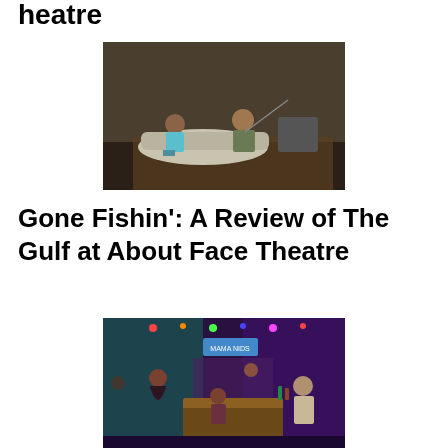Theatre
[Figure (photo): Two actors on stage: a woman sitting in a bathtub-like prop on the left, and a man sitting on the right with his head in his hand, holding a fishing rod, in a dark rustic set]
Gone Fishin': A Review of The Gulf at About Face Theatre
[Figure (photo): Multiple actors on a colorful bar stage set with neon lights, including a woman in a floral dress standing and several others seated around a table]